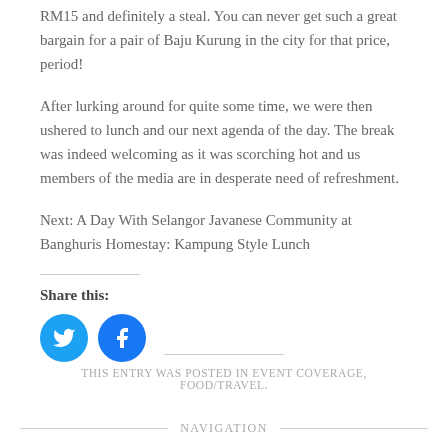RM15 and definitely a steal. You can never get such a great bargain for a pair of Baju Kurung in the city for that price, period!
After lurking around for quite some time, we were then ushered to lunch and our next agenda of the day. The break was indeed welcoming as it was scorching hot and us members of the media are in desperate need of refreshment.
Next: A Day With Selangor Javanese Community at Banghuris Homestay: Kampung Style Lunch
Share this:
[Figure (other): Twitter and Facebook social sharing icon buttons (circular blue icons)]
THIS ENTRY WAS POSTED IN EVENT COVERAGE, FOOD/TRAVEL.
NAVIGATION